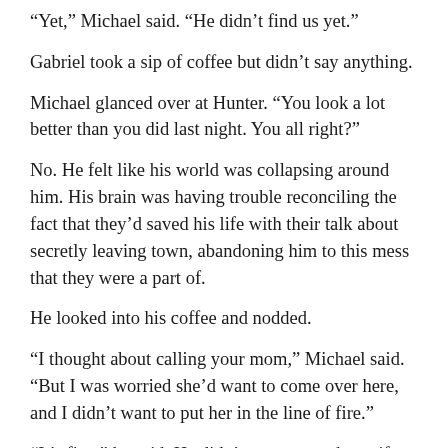“Yet,” Michael said. “He didn’t find us yet.”
Gabriel took a sip of coffee but didn’t say anything.
Michael glanced over at Hunter. “You look a lot better than you did last night. You all right?”
No. He felt like his world was collapsing around him. His brain was having trouble reconciling the fact that they’d saved his life with their talk about secretly leaving town, abandoning him to this mess that they were a part of.
He looked into his coffee and nodded.
“I thought about calling your mom,” Michael said. “But I was worried she’d want to come over here, and I didn’t want to put her in the line of fire.”
“It’s fine,” he said. He didn’t want to see her—if she